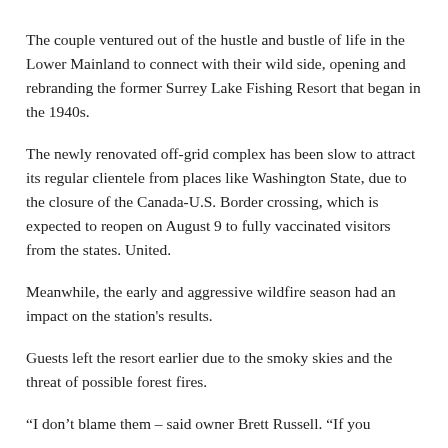The couple ventured out of the hustle and bustle of life in the Lower Mainland to connect with their wild side, opening and rebranding the former Surrey Lake Fishing Resort that began in the 1940s.
The newly renovated off-grid complex has been slow to attract its regular clientele from places like Washington State, due to the closure of the Canada-U.S. Border crossing, which is expected to reopen on August 9 to fully vaccinated visitors from the states. United.
Meanwhile, the early and aggressive wildfire season had an impact on the station’s results.
Guests left the resort earlier due to the smoky skies and the threat of possible forest fires.
“I don’t blame them – said owner Brett Russell. “If you